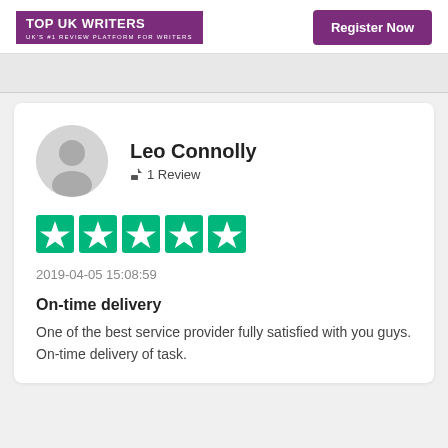[Figure (logo): Top UK Writers logo - purple background with white text]
Register Now
Leo Connolly
✏ 1 Review
[Figure (other): 5 green star rating boxes (Trustpilot-style stars)]
2019-04-05 15:08:59
On-time delivery
One of the best service provider fully satisfied with you guys. On-time delivery of task.